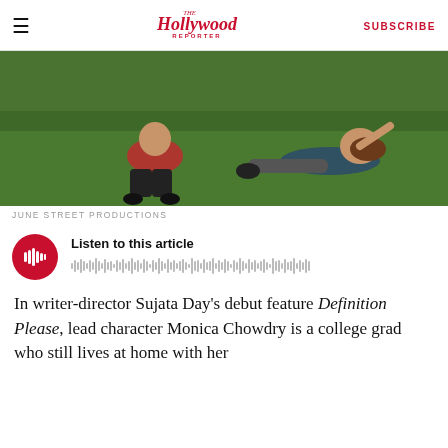The Hollywood Reporter  SUBSCRIBE
[Figure (photo): Two people sitting/lying on green grass outdoors, one in a red shirt, one in a dark shirt, casually posed.]
JUNE STREET PRODUCTIONS
[Figure (other): Audio player widget with red circular play button and waveform/progress bar. Text: Listen to this article]
In writer-director Sujata Day's debut feature Definition Please, lead character Monica Chowdry is a college grad who still lives at home with her mother. After competing as a spelling bee champion in